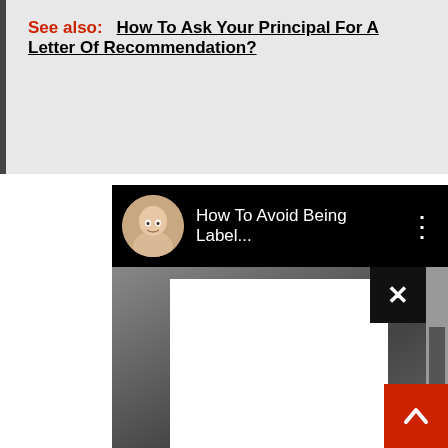See also:  How To Ask Your Principal For A Letter Of Recommendation?
[Figure (screenshot): A YouTube video player UI on a dark background showing a female avatar, the title 'How To Avoid Being Label...' and a three-dot menu icon. Below is a video thumbnail partially covered by a white ad overlay with a close (X) button.]